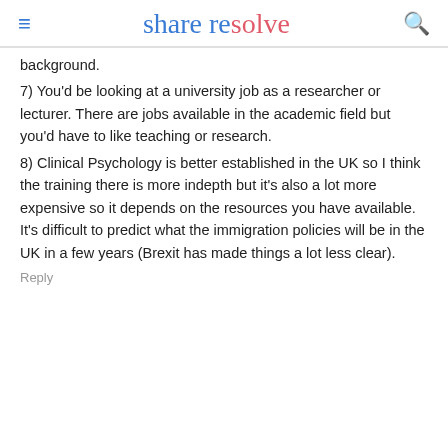share resolve
background.
7) You'd be looking at a university job as a researcher or lecturer. There are jobs available in the academic field but you'd have to like teaching or research.
8) Clinical Psychology is better established in the UK so I think the training there is more indepth but it's also a lot more expensive so it depends on the resources you have available. It's difficult to predict what the immigration policies will be in the UK in a few years (Brexit has made things a lot less clear).
Reply